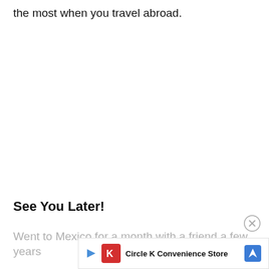the most when you travel abroad.
See You Later!
Went to Mexico for a month with a friend a few years
[Figure (infographic): Advertisement banner for Circle K Convenience Store with red K logo, navigation arrow icon, and play button icon at the bottom of the page]